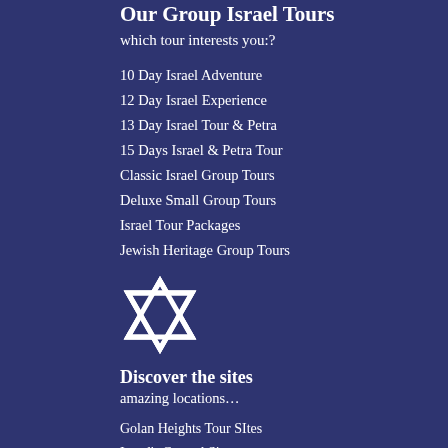Our Group Israel Tours
which tour interests you:?
10 Day Israel Adventure
12 Day Israel Experience
13 Day Israel Tour & Petra
15 Days Israel & Petra Tour
Classic Israel Group Tours
Deluxe Small Group Tours
Israel Tour Packages
Jewish Heritage Group Tours
[Figure (illustration): Star of David (Jewish star) icon in white]
Discover the sites
amazing locations…
Golan Heights Tour SItes
Israel's Coastal Sites
Jerusalem New City Sites
Jerusalem Old City Sites
Judean Desert Sites